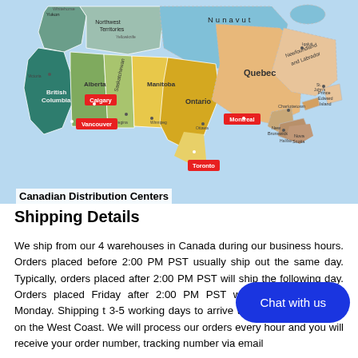[Figure (map): Map of Canada showing provinces and territories with distribution center locations marked in red: Vancouver, Calgary, Montreal, Toronto]
Canadian Distribution Centers
Shipping Details
We ship from our 4 warehouses in Canada during our business hours. Orders placed before 2:00 PM PST usually ship out the same day. Typically, orders placed after 2:00 PM PST will ship the following day. Orders placed Friday after 2:00 PM PST will ship the following Monday. Shipping t[...] 3-5 working days to arrive to the East Coas[...] days on the West Coast. We will process our orders every hour and you will receive your order number, tracking number via email